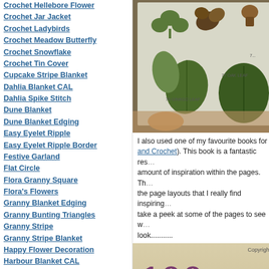Crochet Hellebore Flower
Crochet Jar Jacket
Crochet Ladybirds
Crochet Meadow Butterfly
Crochet Snowflake
Crochet Tin Cover
Cupcake Stripe Blanket
Dahlia Blanket CAL
Dahlia Spike Stitch
Dune Blanket
Dune Blanket Edging
Easy Eyelet Ripple
Easy Eyelet Ripple Border
Festive Garland
Flat Circle
Flora Granny Square
Flora's Flowers
Granny Blanket Edging
Granny Bunting Triangles
Granny Stripe
Granny Stripe Blanket
Happy Flower Decoration
Harbour Blanket CAL
Harmony Blanket
Harmony Granny Square
Heart Decoration
Hexagon How-to
[Figure (photo): Photo of a crochet book page showing various crocheted leaf shapes in green and brown tones, with page numbers visible]
I also used one of my favourite books for... and Crochet). This book is a fantastic resource with an incredible amount of inspiration within the pages. The photography and the page layouts that I really find inspiring. Here, take a peek at some of the pages to see what they look...........
[Figure (photo): Photo of the cover of '100 flowers to knit &...' book with purple/mauve title text on a cream/beige background, with 'Copyright' text visible in upper right]